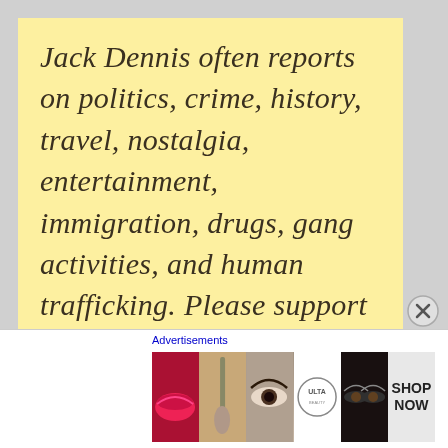Jack Dennis often reports on politics, crime, history, travel, nostalgia, entertainment, immigration, drugs, gang activities, and human trafficking. Please support our efforts to provide truth and news that corporate media will not. ♦ Dodie Dennis, retired RN and health instructor, writes about
[Figure (other): Advertisement banner with Ulta beauty products showing lips, makeup brush, eye, Ulta logo, eye makeup, and SHOP NOW button]